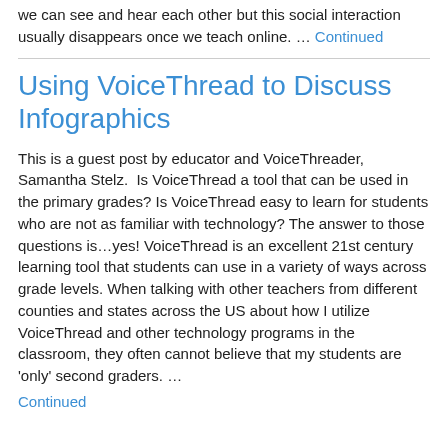we can see and hear each other but this social interaction usually disappears once we teach online. … Continued
Using VoiceThread to Discuss Infographics
This is a guest post by educator and VoiceThreader, Samantha Stelz.  Is VoiceThread a tool that can be used in the primary grades? Is VoiceThread easy to learn for students who are not as familiar with technology? The answer to those questions is…yes! VoiceThread is an excellent 21st century learning tool that students can use in a variety of ways across grade levels. When talking with other teachers from different counties and states across the US about how I utilize VoiceThread and other technology programs in the classroom, they often cannot believe that my students are 'only' second graders. … Continued